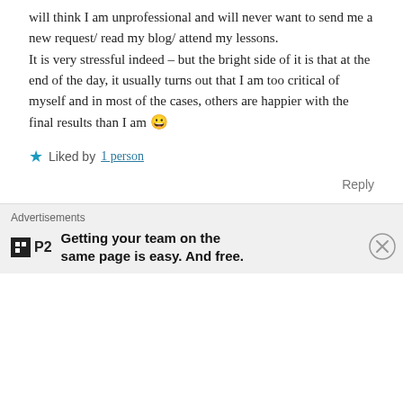will think I am unprofessional and will never want to send me a new request/ read my blog/ attend my lessons.
It is very stressful indeed – but the bright side of it is that at the end of the day, it usually turns out that I am too critical of myself and in most of the cases, others are happier with the final results than I am 😀
★ Liked by 1 person
Reply
kachaiweb
July 20, 2020 at 7:19 pm
Advertisements
Getting your team on the same page is easy. And free.